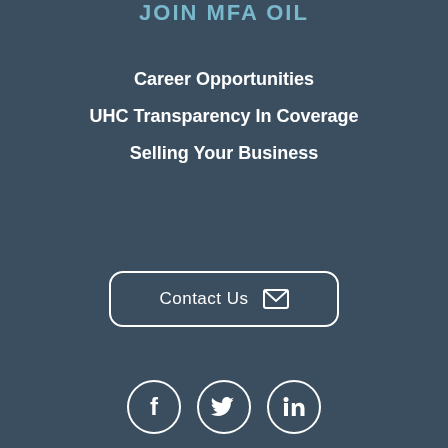JOIN MFA OIL
Career Opportunities
UHC Transparency In Coverage
Selling Your Business
[Figure (other): Contact Us button with envelope icon]
[Figure (other): Social media icons: Facebook, Twitter, LinkedIn in circles]